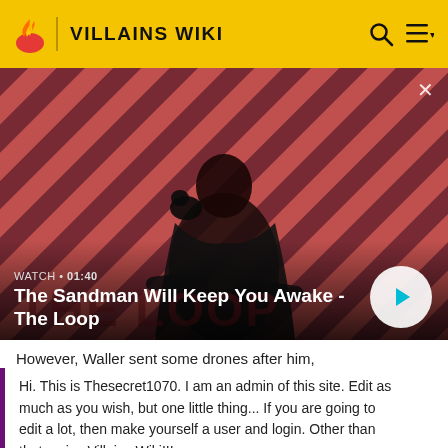VILLAINS WIKI
[Figure (screenshot): Video thumbnail for 'The Sandman Will Keep You Awake - The Loop' showing a dark-cloaked figure with a raven on a red striped background. Shows WATCH · 01:40 label and a play button.]
However, Waller sent some drones after him, created by General Filing. They eventually found where King Sh
Hi. This is Thesecret1070. I am an admin of this site. Edit as much as you wish, but one little thing... If you are going to edit a lot, then make yourself a user and login. Other than that, enjoy Villains Wiki!!!